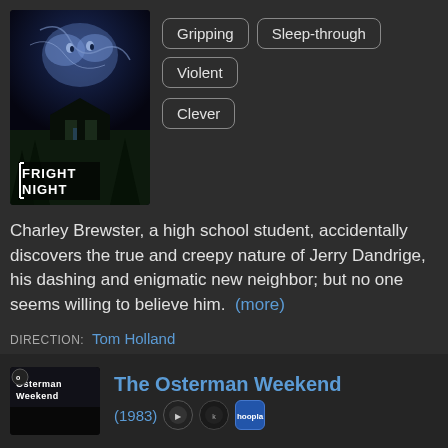[Figure (photo): Movie poster for Fright Night – dark horror imagery with a ghostly face in storm clouds above a house, with the title FRIGHT NIGHT at the bottom]
Gripping
Sleep-through
Violent
Clever
Charley Brewster, a high school student, accidentally discovers the true and creepy nature of Jerry Dandrige, his dashing and enigmatic new neighbor; but no one seems willing to believe him. (more)
DIRECTION: Tom Holland
CAST: Chris Sarandon • William Ragsdale • Amanda Bearse • Roddy McDowall
[Figure (photo): Movie poster for The Osterman Weekend – dark background with stylized text]
The Osterman Weekend
(1983)